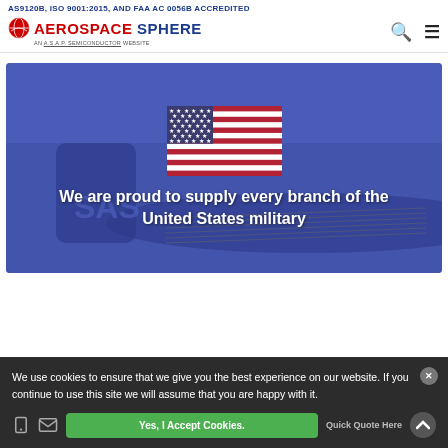AS9120B, ISO 9001:2015, AND FAA AC 0056B ACCREDITED
[Figure (logo): Aerospace Sphere logo — red globe icon with AEROSPACE SPHERE text, AN A.S.A.P. SEMICONDUCTOR WEBSITE subtitle, with search and menu icons on the right]
[Figure (photo): Hero banner with blue-tinted airplane background, centered US flag SVG, and text: We are proud to supply every branch of the United States military]
We use cookies to ensure that we give you the best experience on our website. If you continue to use this site we will assume that you are happy with it.
Yes, I Accept Cookies.
Quick Quote Here